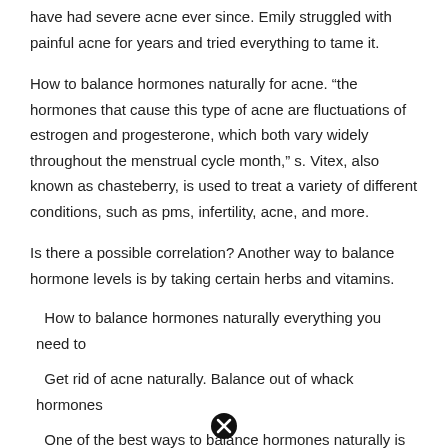have had severe acne ever since. Emily struggled with painful acne for years and tried everything to tame it.
How to balance hormones naturally for acne. “the hormones that cause this type of acne are fluctuations of estrogen and progesterone, which both vary widely throughout the menstrual cycle month,” s. Vitex, also known as chasteberry, is used to treat a variety of different conditions, such as pms, infertility, acne, and more.
Is there a possible correlation? Another way to balance hormone levels is by taking certain herbs and vitamins.
How to balance hormones naturally everything you need to
Get rid of acne naturally. Balance out of whack hormones
One of the best ways to balance hormones naturally is to